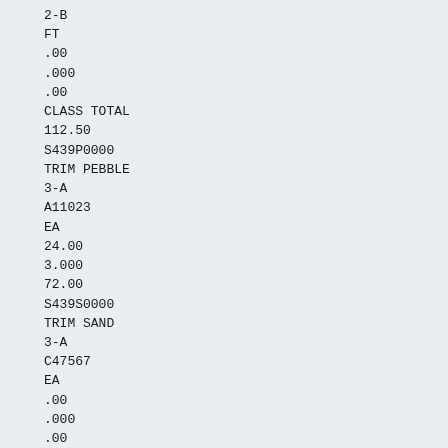2-B
FT
.00
.000
.00
CLASS TOTAL
112.50
S439P0000
TRIM PEBBLE
3-A
A11023
EA
24.00
3.000
72.00
S439S0000
TRIM SAND
3-A
C47567
EA
.00
.000
.00
Section 1 Page 85
CLASS TOTAL
72.00
COMPANY TOTAL
634.50
Introduction
System Description
DATE- 10/17/88
PAGE
1